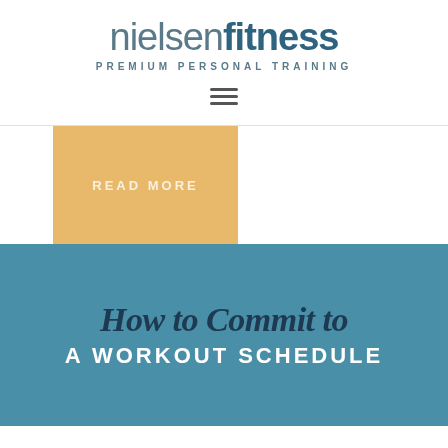[Figure (logo): Nielsen Fitness logo with 'nielsen' in light weight and 'fitness' in bold dark blue, tagline 'PREMIUM PERSONAL TRAINING' below]
[Figure (other): Hamburger menu icon (three horizontal lines)]
[Figure (other): Gold/tan colored 'READ MORE' button]
[Figure (illustration): Teal/blue card with text 'How to Commit to A WORKOUT SCHEDULE' — script italic style for 'How to Commit to', bold caps for 'A WORKOUT SCHEDULE']